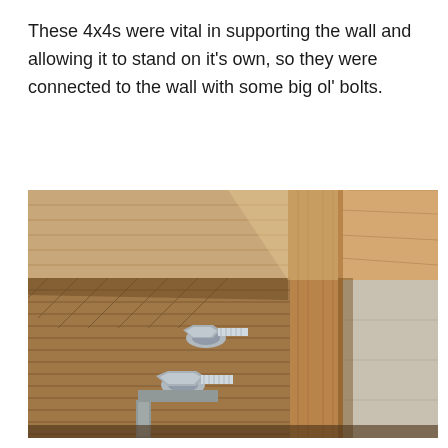These 4x4s were vital in supporting the wall and allowing it to stand on it’s own, so they were connected to the wall with some big ol’ bolts.
[Figure (photo): Close-up photograph of wooden 4x4 lumber pieces bolted together with large hex bolts and washers, showing the connection point at the base of a wall structure. Two large bolts are visible securing the wood members together.]